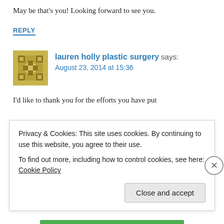May be that's you! Looking forward to see you.
REPLY
[Figure (illustration): Golden/olive colored decorative avatar icon with geometric cross and diamond pattern]
lauren holly plastic surgery says: August 23, 2014 at 15:36
I'd like to thank you for the efforts you have put
Privacy & Cookies: This site uses cookies. By continuing to use this website, you agree to their use.
To find out more, including how to control cookies, see here: Cookie Policy
Close and accept